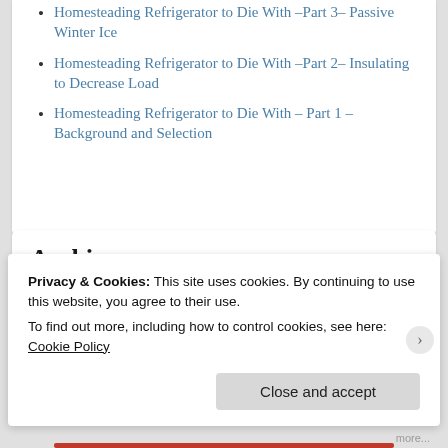Homesteading Refrigerator to Die With –Part 3– Passive Winter Ice
Homesteading Refrigerator to Die With –Part 2– Insulating to Decrease Load
Homesteading Refrigerator to Die With – Part 1 – Background and Selection
Archives
Privacy & Cookies: This site uses cookies. By continuing to use this website, you agree to their use.
To find out more, including how to control cookies, see here: Cookie Policy